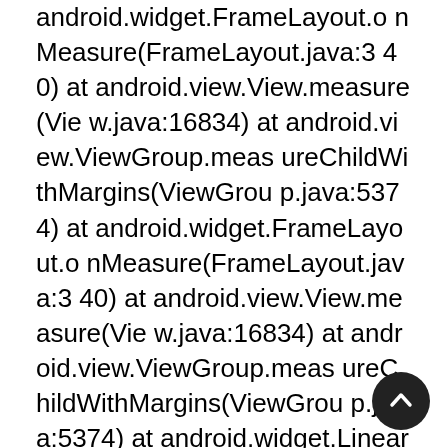android.widget.FrameLayout.onMeasure(FrameLayout.java:340) at android.view.View.measure(View.java:16834) at android.view.ViewGroup.measureChildWithMargins(ViewGroup.java:5374) at android.widget.FrameLayout.onMeasure(FrameLayout.java:340) at android.view.View.measure(View.java:16834) at android.view.ViewGroup.measureChildWithMargins(ViewGroup.java:5374) at android.widget.LinearLayout.measureChildBeforeLayout(LinearLayout.java:1621) at